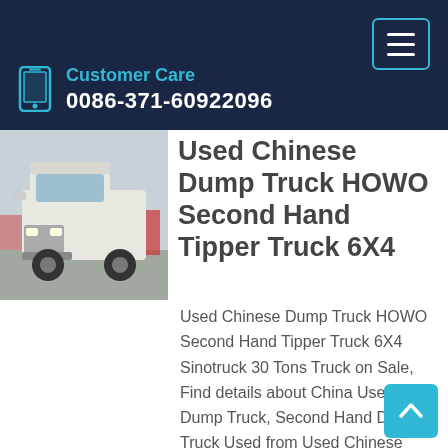Customer Care
0086-371-60922096
[Figure (photo): White HOWO dump truck front view parked in a lot with red trucks in background]
Used Chinese Dump Truck HOWO Second Hand Tipper Truck 6X4
Used Chinese Dump Truck HOWO Second Hand Tipper Truck 6X4 Sinotruck 30 Tons Truck on Sale, Find details about China Used Dump Truck, Second Hand Dump Truck Used from Used Chinese Dump Truck HOWO Second Hand Tipper Truck 6X4 Sinotruck 30 Tons Truck on Sale - Zhengzhou Huihe Vehicle Sales Co., Ltd.